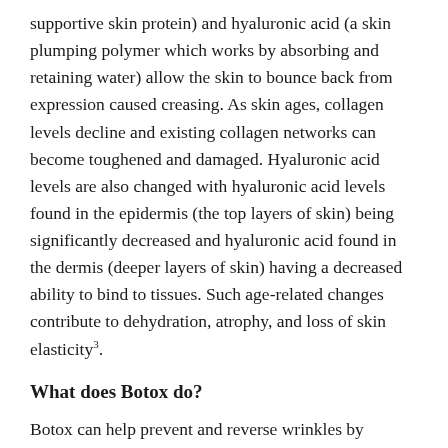supportive skin protein) and hyaluronic acid (a skin plumping polymer which works by absorbing and retaining water) allow the skin to bounce back from expression caused creasing. As skin ages, collagen levels decline and existing collagen networks can become toughened and damaged. Hyaluronic acid levels are also changed with hyaluronic acid levels found in the epidermis (the top layers of skin) being significantly decreased and hyaluronic acid found in the dermis (deeper layers of skin) having a decreased ability to bind to tissues. Such age-related changes contribute to dehydration, atrophy, and loss of skin elasticity³.
What does Botox do?
Botox can help prevent and reverse wrinkles by preventing skin from creasing. When skin is not able to crease existing fine lines and wrinkles may re-plump (to a degree) with time and future fine lines and wrinkles caused by skin creasing may be prevented. Botox does this by interfering with the signalling